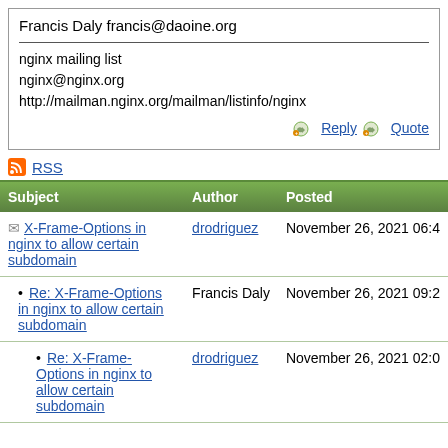Francis Daly francis@daoine.org
nginx mailing list
nginx@nginx.org
http://mailman.nginx.org/mailman/listinfo/nginx
Reply  Quote
RSS
| Subject | Author | Posted |
| --- | --- | --- |
| X-Frame-Options in nginx to allow certain subdomain | drodriguez | November 26, 2021 06:4 |
| • Re: X-Frame-Options in nginx to allow certain subdomain | Francis Daly | November 26, 2021 09:2 |
| • Re: X-Frame-Options in nginx to allow certain subdomain | drodriguez | November 26, 2021 02:0 |